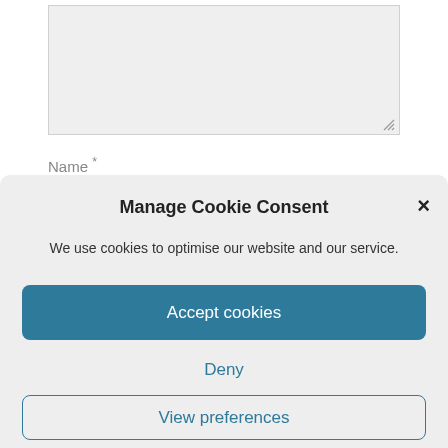[Figure (screenshot): Partial web form with a grey textarea input field and a resize handle in the bottom-right corner]
Name *
Manage Cookie Consent
We use cookies to optimise our website and our service.
Accept cookies
Deny
View preferences